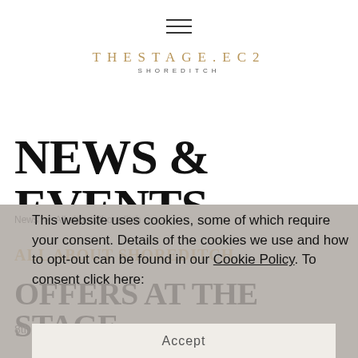THESTAGE.EC2 SHOREDITCH
NEWS & EVENTS
News > All about Shoreditch >
ALL ABOUT SHOREDITCH
OFFERS AT THE STAGE
8th August 2019
This website uses cookies, some of which require your consent. Details of the cookies we use and how to opt-out can be found in our Cookie Policy. To consent click here:
Accept